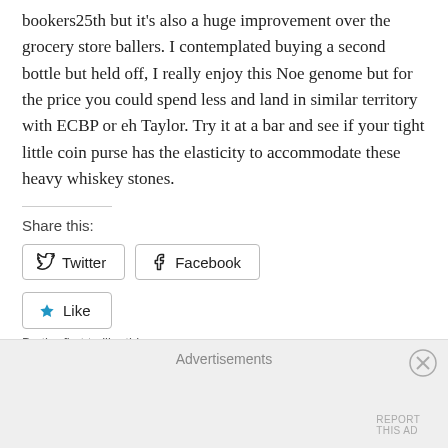bookers25th but it's also a huge improvement over the grocery store ballers. I contemplated buying a second bottle but held off, I really enjoy this Noe genome but for the price you could spend less and land in similar territory with ECBP or eh Taylor. Try it at a bar and see if your tight little coin purse has the elasticity to accommodate these heavy whiskey stones.
Share this:
Twitter
Facebook
Like
Be the first to like this.
Related
Advertisements